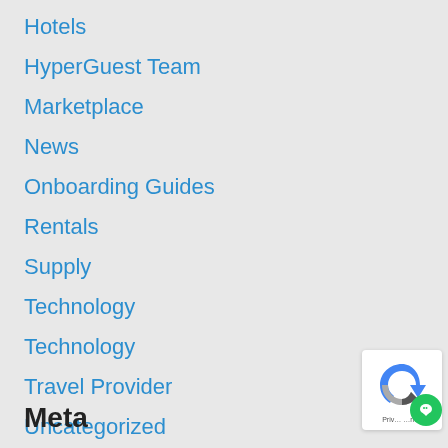Hotels
HyperGuest Team
Marketplace
News
Onboarding Guides
Rentals
Supply
Technology
Technology
Travel Provider
Uncategorized
Meta